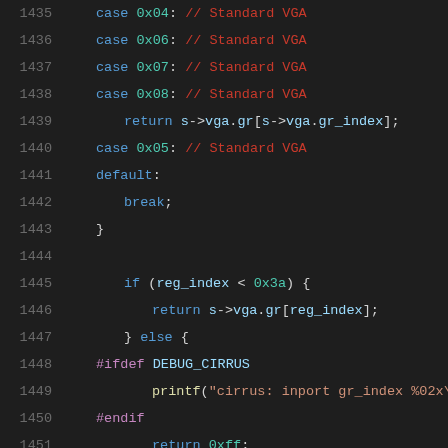[Figure (screenshot): Source code viewer showing C code lines 1435-1456 with syntax highlighting on dark background. Code shows a switch statement with case handlers for VGA registers, followed by conditional logic with #ifdef DEBUG_CIRRUS block, and the beginning of cirrus_vga_write_gr function.]